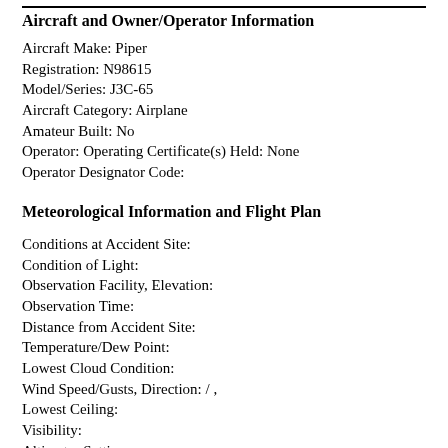Aircraft and Owner/Operator Information
Aircraft Make: Piper
Registration: N98615
Model/Series: J3C-65
Aircraft Category: Airplane
Amateur Built: No
Operator: Operating Certificate(s) Held: None
Operator Designator Code:
Meteorological Information and Flight Plan
Conditions at Accident Site:
Condition of Light:
Observation Facility, Elevation:
Observation Time:
Distance from Accident Site:
Temperature/Dew Point:
Lowest Cloud Condition:
Wind Speed/Gusts, Direction: / ,
Lowest Ceiling:
Visibility:
Altimeter Setting: